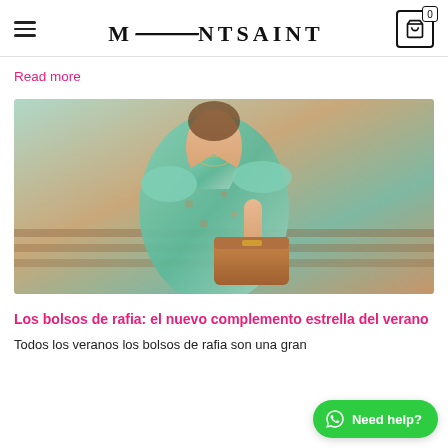MONTSAINT — navigation header with hamburger menu and cart icon showing 0
Read more
[Figure (photo): Woman in a floral teal wrap dress sitting on a bench, holding a tan/caramel colored structured handbag with hardware details. Outdoor setting with blurred background.]
Los bolsos de rafia: el nuevo complemento estrella del verano
Todos los veranos los bolsos de rafia son una gran